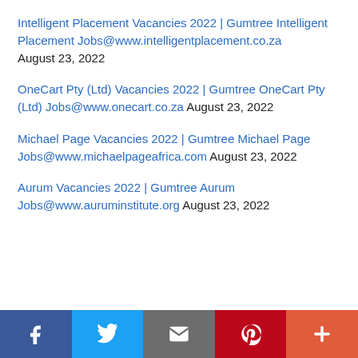Intelligent Placement Vacancies 2022 | Gumtree Intelligent Placement Jobs@www.intelligentplacement.co.za August 23, 2022
OneCart Pty (Ltd) Vacancies 2022 | Gumtree OneCart Pty (Ltd) Jobs@www.onecart.co.za August 23, 2022
Michael Page Vacancies 2022 | Gumtree Michael Page Jobs@www.michaelpageafrica.com August 23, 2022
Aurum Vacancies 2022 | Gumtree Aurum Jobs@www.auruminstitute.org August 23, 2022
Social share bar: Facebook, Twitter, Email, Pinterest, More